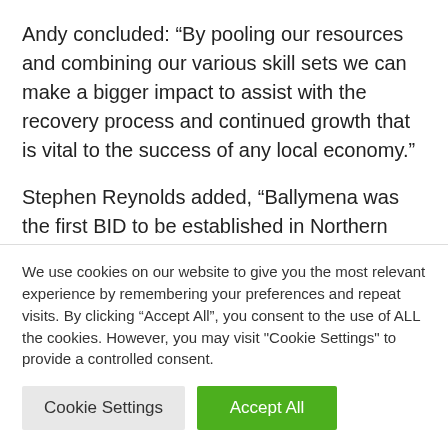Andy concluded: “By pooling our resources and combining our various skill sets we can make a bigger impact to assist with the recovery process and continued growth that is vital to the success of any local economy.”
Stephen Reynolds added, “Ballymena was the first BID to be established in Northern Ireland in 2015. It has been deemed a huge success and acquired an
We use cookies on our website to give you the most relevant experience by remembering your preferences and repeat visits. By clicking “Accept All”, you consent to the use of ALL the cookies. However, you may visit "Cookie Settings" to provide a controlled consent.